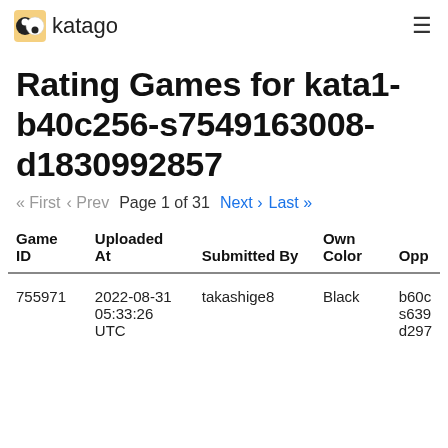KataGo
Rating Games for kata1-b40c256-s7549163008-d1830992857
« First ‹ Prev   Page 1 of 31   Next › Last »
| Game ID | Uploaded At | Submitted By | Own Color | Opp |
| --- | --- | --- | --- | --- |
| 755971 | 2022-08-31 05:33:26 UTC | takashige8 | Black | b60c s639 d297 |